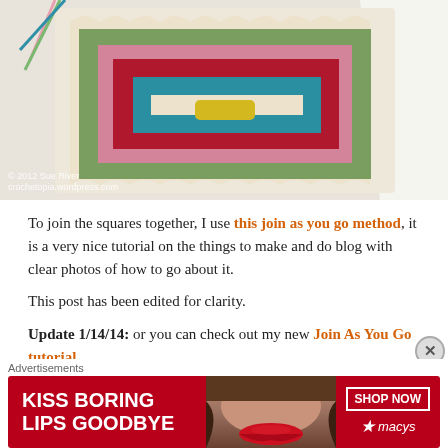[Figure (photo): Close-up photo of a colorful crocheted granny square with concentric rings in teal, dark red/crimson, pink, olive green, and cream/off-white border. Yarn tails visible at top left. Watermark reads '© 2012 Sue River' and 'crochetopia.wordpress.com'.]
To join the squares together, I use this join as you go method, it is a very nice tutorial on the things to make and do blog with clear photos of how to go about it.
This post has been edited for clarity.
Update 1/14/14: or you can check out my new Join As You Go tutorial.
Advertisements
[Figure (photo): Advertisement banner for Macy's lipstick promotion. Red background with white bold text 'KISS BORING LIPS GOODBYE', a woman's face with red lips, and 'SHOP NOW' button with Macy's star logo.]